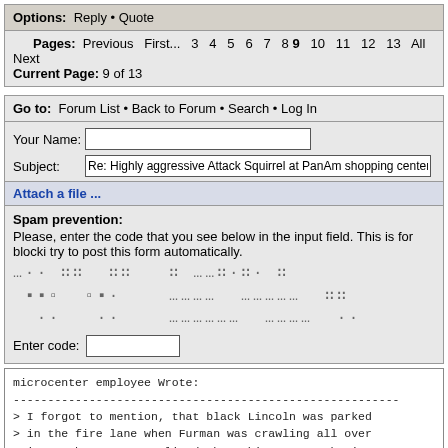Options: Reply • Quote
Pages: Previous First... 3 4 5 6 7 8 9 10 11 12 13 All Next
Current Page: 9 of 13
Go to: Forum List • Back to Forum • Search • Log In
Your Name:
Subject: Re: Highly aggressive Attack Squirrel at PanAm shopping center
Attach a file ...
Spam prevention:
Please, enter the code that you see below in the input field. This is for blocki try to post this form automatically.
Enter code:
microcenter employee Wrote:
--------------------------------------------------------
> I forgot to mention, that black Lincoln was parked
> in the fire lane when Furman was crawling all over
> it. Maybe Furman realized that this car was having
> a impact on public safety and decided to do
> something about it.